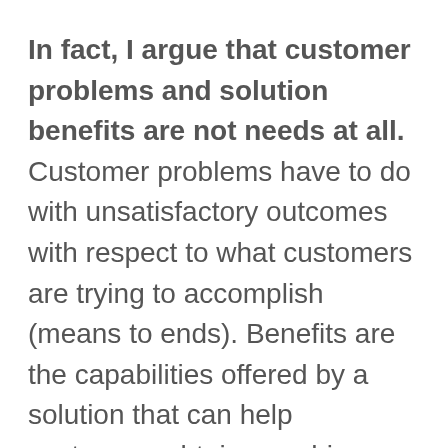In fact, I argue that customer problems and solution benefits are not needs at all. Customer problems have to do with unsatisfactory outcomes with respect to what customers are trying to accomplish (means to ends). Benefits are the capabilities offered by a solution that can help customers obtain or achieve the outcomes they want and avoid the outcomes they do not want. Problems and solution benefits are certainly related to customer needs, but they do not define those needs.